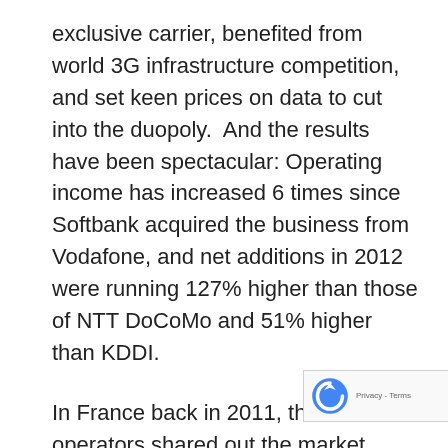exclusive carrier, benefited from world 3G infrastructure competition, and set keen prices on data to cut into the duopoly.  And the results have been spectacular: Operating income has increased 6 times since Softbank acquired the business from Vodafone, and net additions in 2012 were running 127% higher than those of NTT DoCoMo and 51% higher than KDDI.
In France back in 2011, three French operators shared out the market, under the eyes of ARCEP, a regulator much more enthusiastic about planning for infrastructure development than driving competition. That year, Free.fr, a com that had already disrupted the fixed ISP mar...